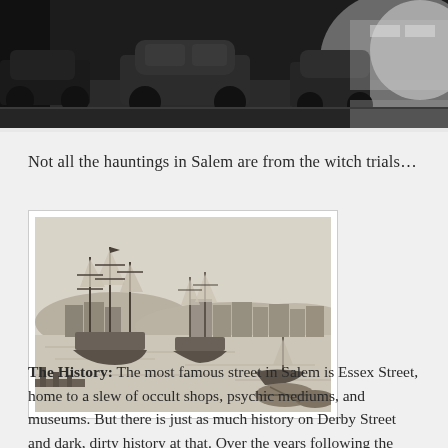[Figure (photo): Black and white nighttime street photograph showing parked vintage cars along a dark street with illuminated storefronts in the background.]
Not all the hauntings in Salem are from the witch trials...
[Figure (illustration): Historical pencil or engraving illustration of Salem harbor showing tall-masted sailing ships docked at a waterfront with buildings and hills in the background.]
The History: The most famous street in Salem is Essex Street, home to a slew of occult shops, psychic mediums, and museums. But there is just as much history on Derby Street and dark, dirty history at that. Over the years following the hysteria of the Salem witch trials, Salem